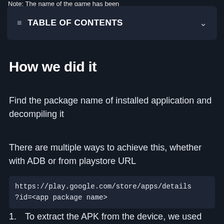Note: The name of the game has been
TABLE OF CONTENTS
How we did it
Find the package name of installed application and decompiling it
There are multiple ways to achieve this, whether with ADB or from playstore URL
https://play.google.com/store/apps/details?id=<app package name>
1. To extract the APK from the device, we used